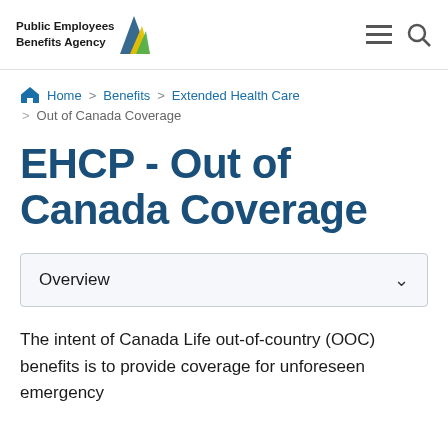Public Employees Benefits Agency
Home > Benefits > Extended Health Care > Out of Canada Coverage
EHCP - Out of Canada Coverage
Overview
The intent of Canada Life out-of-country (OOC) benefits is to provide coverage for unforeseen emergency